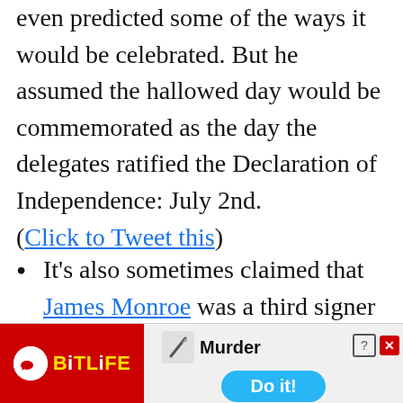even predicted some of the ways it would be celebrated. But he assumed the hallowed day would be commemorated as the day the delegates ratified the Declaration of Independence: July 2nd. (Click to Tweet this)
It's also sometimes claimed that James Monroe was a third signer who not only became president but died on Independence Day. While Monroe was an important Founding Father, 5th US President, and did die on July 4th, 1831, he
[Figure (screenshot): BitLife app advertisement banner with red background, BitLife logo on left, knife icon, 'Murder' text, close/help buttons, and 'Do it!' blue button]